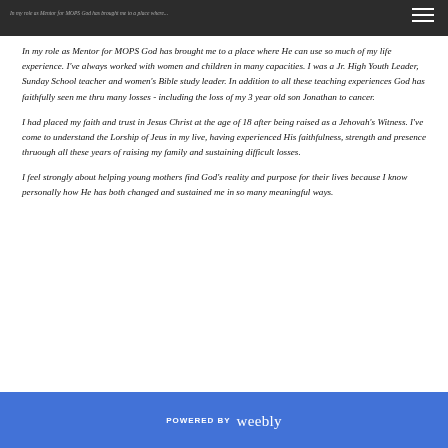In my role as Mentor for MOPS God has brought me to a place where He can use so much of my life experience.
In my role as Mentor for MOPS God has brought me to a place where He can use so much of my life experience.  I've always worked with women and children in many capacities.  I was a Jr. High Youth Leader, Sunday School teacher and women's Bible study leader. In addition to all these teaching experiences God has faithfully seen me thru many losses - including the loss of my 3 year old son Jonathan to cancer.
I had placed my faith and trust in Jesus Christ at the age of 18 after being raised as a Jehovah's Witness.  I've come to understand the Lorship of Jeus in my live, having experienced His faithfulness, strength and presence thruough all these years of raising my family and sustaining difficult losses.
I feel strongly about helping young mothers find God's reality and purpose for their lives because I know personally how He has both changed and sustained me in so many meaningful ways.
POWERED BY weebly